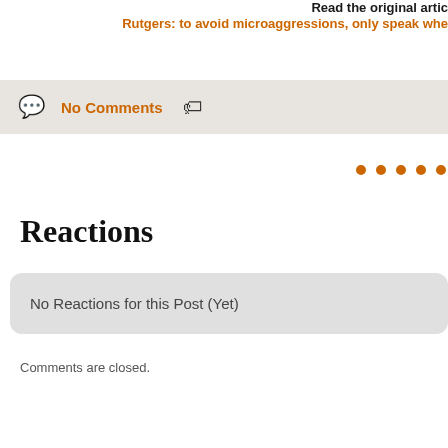Read the original artic
Rutgers: to avoid microaggressions, only speak whe
No Comments
[Figure (other): Five orange dots in a row]
Reactions
No Reactions for this Post (Yet)
Comments are closed.